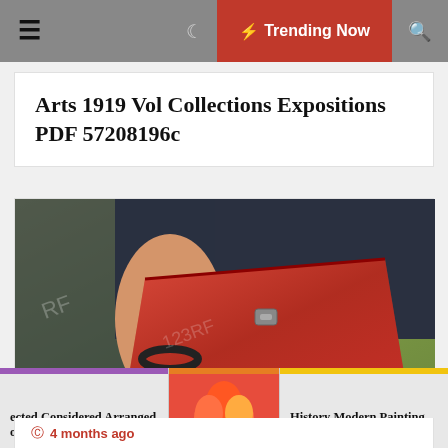☰  ☾  ⚡ Trending Now  🔍
Arts 1919 Vol Collections Expositions PDF 57208196c
[Figure (photo): Woman holding a red leather handbag against a green background, wearing dark nail polish and a bracelet]
4 months ago
Collector Art Critic Vol October PDF Bdfee455e
ected Considered Arranged onal PDF B8ee4c5ba
History Modern Painting Reprint PDF Ff6ae70cd